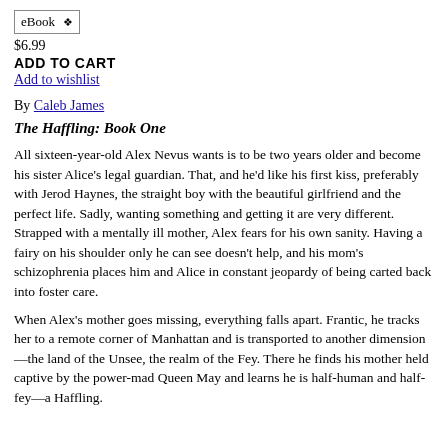eBook ▾
$6.99
ADD TO CART
Add to wishlist
By Caleb James
The Haffling: Book One
All sixteen-year-old Alex Nevus wants is to be two years older and become his sister Alice's legal guardian. That, and he'd like his first kiss, preferably with Jerod Haynes, the straight boy with the beautiful girlfriend and the perfect life. Sadly, wanting something and getting it are very different. Strapped with a mentally ill mother, Alex fears for his own sanity. Having a fairy on his shoulder only he can see doesn't help, and his mom's schizophrenia places him and Alice in constant jeopardy of being carted back into foster care.
When Alex's mother goes missing, everything falls apart. Frantic, he tracks her to a remote corner of Manhattan and is transported to another dimension—the land of the Unsee, the realm of the Fey. There he finds his mother held captive by the power-mad Queen May and learns he is half-human and half-fey—a Haffling.